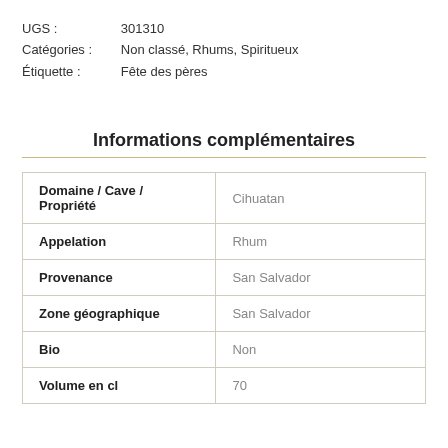UGS :   301310
Catégories :   Non classé, Rhums, Spiritueux
Étiquette :   Fête des pères
Informations complémentaires
|  |  |
| --- | --- |
| Domaine / Cave / Propriété | Cihuatan |
| Appelation | Rhum |
| Provenance | San Salvador |
| Zone géographique | San Salvador |
| Bio | Non |
| Volume en cl | 70 |